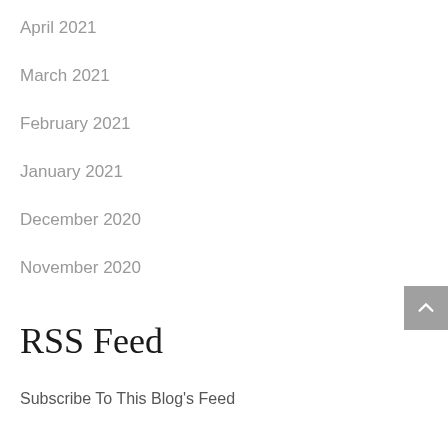April 2021
March 2021
February 2021
January 2021
December 2020
November 2020
RSS Feed
Subscribe To This Blog's Feed